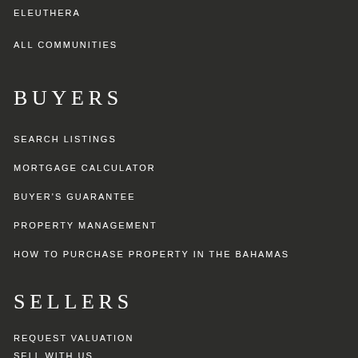ELEUTHERA
ALL COMMUNITIES
BUYERS
SEARCH LISTINGS
MORTGAGE CALCULATOR
BUYER'S GUARANTEE
PROPERTY MANAGEMENT
HOW TO PURCHASE PROPERTY IN THE BAHAMAS
SELLERS
REQUEST VALUATION
SELL WITH US